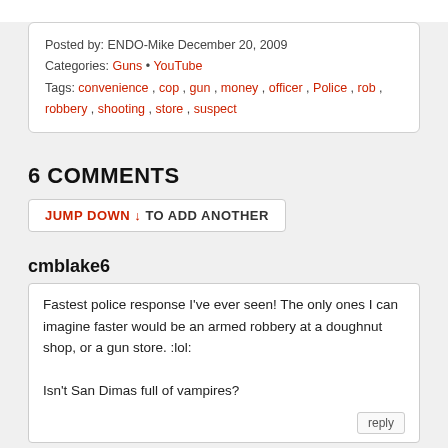Posted by: ENDO-Mike December 20, 2009
Categories: Guns • YouTube
Tags: convenience , cop , gun , money , officer , Police , rob , robbery , shooting , store , suspect
6 COMMENTS
JUMP DOWN ↓ TO ADD ANOTHER
cmblake6
Fastest police response I've ever seen! The only ones I can imagine faster would be an armed robbery at a doughnut shop, or a gun store. :lol:

Isn't San Dimas full of vampires?